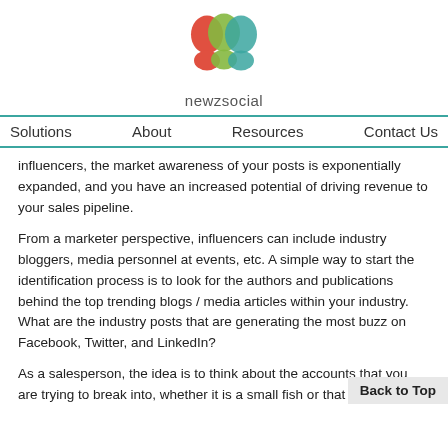[Figure (logo): newzsocial logo with three overlapping head silhouettes in red, green, and teal, with text 'newzsocial' below]
Solutions   About   Resources   Contact Us
influencers, the market awareness of your posts is exponentially expanded, and you have an increased potential of driving revenue to your sales pipeline.
From a marketer perspective, influencers can include industry bloggers, media personnel at events, etc. A simple way to start the identification process is to look for the authors and publications behind the top trending blogs / media articles within your industry. What are the industry posts that are generating the most buzz on Facebook, Twitter, and LinkedIn?
As a salesperson, the idea is to think about the accounts that you are trying to break into, whether it is a small fish or that white whale